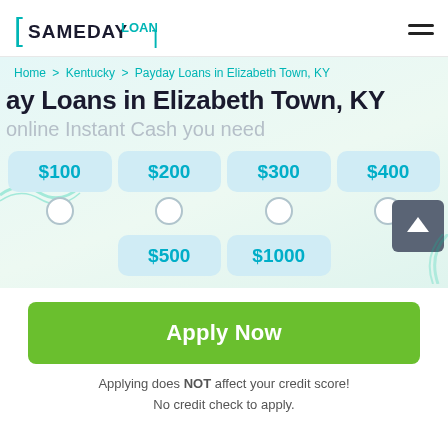[Figure (logo): SameDay Loan logo with teal brackets]
Home > Kentucky > Payday Loans in Elizabeth Town, KY
Payday Loans in Elizabeth Town, KY
online Instant Cash you need
[Figure (infographic): Loan amount selection cards: $100, $200, $300, $400, $500, $1000 with radio buttons and scroll-up button]
Apply Now
Applying does NOT affect your credit score! No credit check to apply.